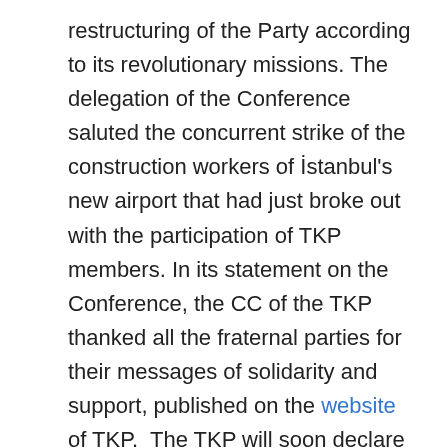restructuring of the Party according to its revolutionary missions. The delegation of the Conference saluted the concurrent strike of the construction workers of Istanbul's new airport that had just broke out with the participation of TKP members. In its statement on the Conference, the CC of the TKP thanked all the fraternal parties for their messages of solidarity and support, published on the website of TKP.  The TKP will soon declare a political roadmap for the upcoming period, as well as the outcome of the Conference.
The statement of the CC of the TKP said the following: